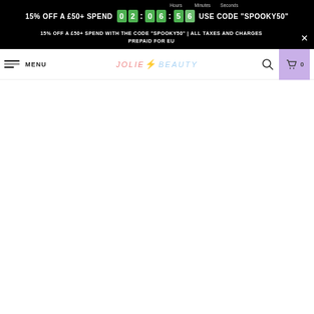15% OFF A £50+ SPEND | 02:06:56 | USE CODE "SPOOKY50"
15% OFF A £50+ SPEND WITH THE CODE "SPOOKY50" | ALL TAXES AND CHARGES PREPAID FOR EU
MENU | JOLIE BEAUTY | 0
[Figure (screenshot): Currency selector widget showing US flag and USD dropdown]
USD